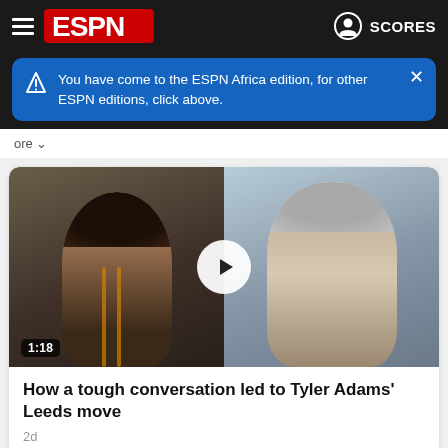ESPN
You have come to the ESPN Africa edition, for other ESPN editions, click above.
[Figure (screenshot): Video thumbnail showing two people side by side with a play button in the center and duration badge '1:18' in lower left. Left person is a young man in a dark tracksuit with orange stripes; right person is an older man in a light cream tracksuit. Background is outdoor/training facility.]
How a tough conversation led to Tyler Adams' Leeds move
2d